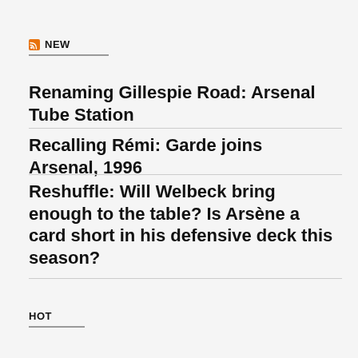NEW
Renaming Gillespie Road: Arsenal Tube Station
Recalling Rémi: Garde joins Arsenal, 1996
Reshuffle: Will Welbeck bring enough to the table? Is Arsène a card short in his defensive deck this season?
HOT